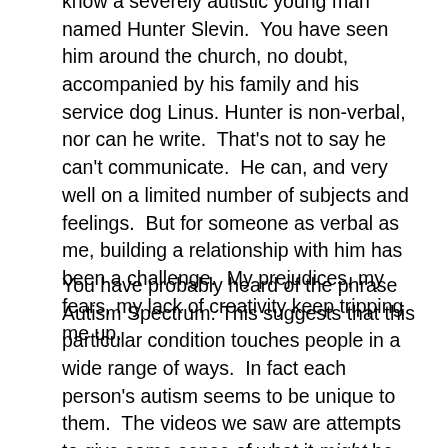...for the last nine months I have been slowly getting to know a severely autistic young man named Hunter Slevin. You have seen him around the church, no doubt, accompanied by his family and his service dog Linus. Hunter is non-verbal, nor can he write. That's not to say he can't communicate. He can, and very well on a limited number of subjects and feelings. But for someone as verbal as me, building a relationship with him has been a challenge. My prejudices, my fears, my lack of creativity keep tripping me up.
You have probably heard of the phrase Autism Spectrum. This suggests that this particular condition touches people in a wide range of ways. In fact each person's autism seems to be unique to them. The videos we saw are attempts to give some sense of what it might be like. They are not definitive or absolute. They are just a first step in helping the rest of us understand the kinds of things that affect people with Autism.